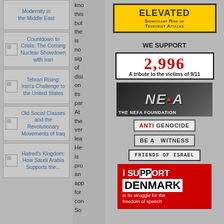[Figure (screenshot): Left sidebar with book cover links: 'Modernity in the Middle East', 'Countdown to Crisis: The Coming Nuclear Showdown with Iran', 'Tehran Rising: Iran's Challenge to the United States', 'Old Social Classes and the Revolutionary Movements of Iraq', 'Hatred's Kingdom: How Saudi Arabia Supports the...']
kno
this
but
the
is
no
sig
of
disi
on
its
par
At
the
ver
lea
He:
is
pro
an
app
for
con
So
[Figure (infographic): ELEVATED - Significant Risk of Terrorist Attacks (yellow/black badge)]
WE SUPPORT
[Figure (infographic): 2,996 - A tribute to the victims of 9/11]
[Figure (logo): THE NEFA FOUNDATION logo]
[Figure (logo): ANTI GENOCIDE badge]
[Figure (logo): BE A WITNESS badge]
[Figure (logo): FRIENDS OF ISRAEL badge]
[Figure (infographic): I SUPPORT DENMARK in its struggle for the freedom of speech]